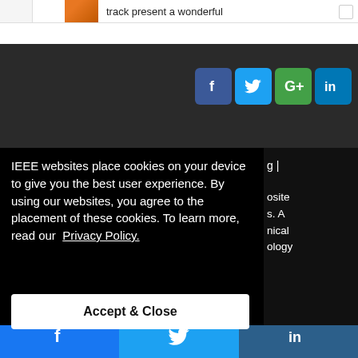track present a wonderful
[Figure (screenshot): Social media share icons: Facebook (blue), Twitter (cyan), Google+ style (green circle), LinkedIn (blue)]
g |
osite
s. A
nical
ology
IEEE websites place cookies on your device to give you the best user experience. By using our websites, you agree to the placement of these cookies. To learn more, read our Privacy Policy.
Accept & Close
[Figure (screenshot): Share bar with Facebook, Twitter, and LinkedIn buttons at bottom of page]